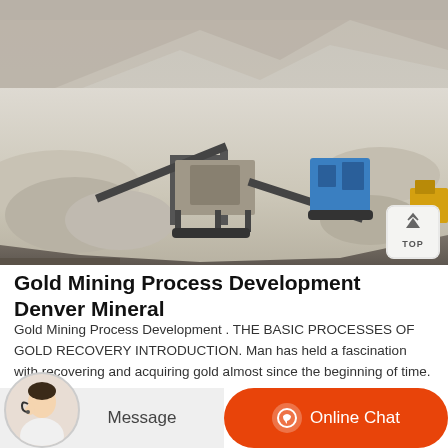[Figure (photo): Outdoor mining site with heavy equipment including crushers and conveyor belts on a sandy/gravelly open area, with rocky mountains in the background. A blue machine is visible on the right side. A 'TOP' navigation button appears in the lower-right corner of the image.]
Gold Mining Process Development Denver Mineral
Gold Mining Process Development . THE BASIC PROCESSES OF GOLD RECOVERY INTRODUCTION. Man has held a fascination with recovering and acquiring gold almost since the beginning of time. This